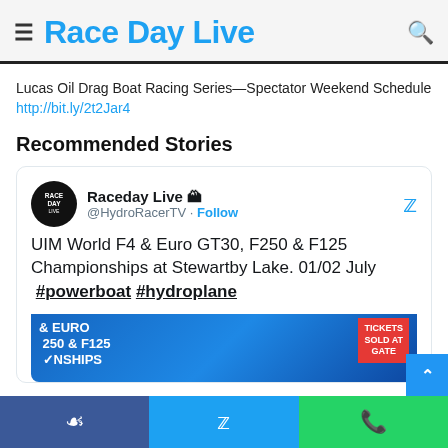Race Day Live
Lucas Oil Drag Boat Racing Series—Spectator Weekend Schedule http://bit.ly/2t2Jar4
Recommended Stories
[Figure (screenshot): Embedded tweet from @HydroRacerTV (Raceday Live) reading: UIM World F4 & Euro GT30, F250 & F125 Championships at Stewartby Lake. 01/02 July #powerboat #hydroplane, with a partial event image below]
Facebook share | Twitter share | WhatsApp share